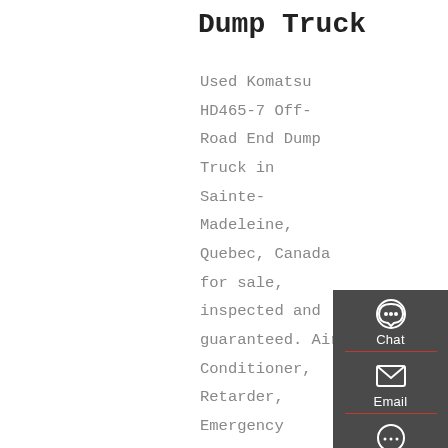Dump Truck
Used Komatsu HD465-7 Off-Road End Dump Truck in Sainte-Madeleine, Quebec, Canada for sale, inspected and guaranteed. Air Conditioner, Retarder, Emergency Steering, Heated Body, Steel Body Liner, 24.00R35 Tires. Seller states this unit is still being operated and the hours are subject to change.
[Figure (infographic): Sidebar widget with Chat, Email, Contact, and Top buttons on dark grey background with red dividers]